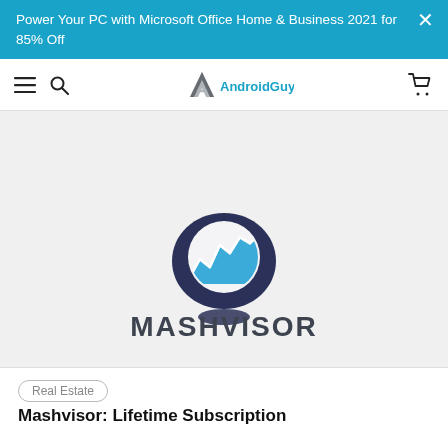Power Your PC with Microsoft Office Home & Business 2021 for 85% Off
[Figure (logo): AndroidGuys navigation bar logo with hamburger menu, search icon, AG logo, and cart icon]
[Figure (logo): Mashvisor logo: dark navy map pin icon with blue/white area chart and upward arrow inside, with bold text MASHVISOR below]
Real Estate
Mashvisor: Lifetime Subscription